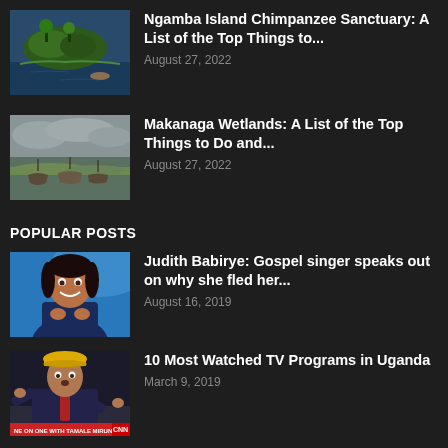[Figure (photo): Aerial view of Ngamba Island with greenery and water]
Ngamba Island Chimpanzee Sanctuary: A List of the Top Things to...
August 27, 2022
[Figure (photo): Boats on a wetland/lake scene at Makanaga Wetlands]
Makanaga Wetlands: A List of the Top Things to Do and...
August 27, 2022
POPULAR POSTS
[Figure (photo): Portrait of Judith Babirye, gospel singer, smiling in front of blue background]
Judith Babirye: Gospel singer speaks out on why she fled her...
August 16, 2019
[Figure (photo): TV show still with man in suit and yellow hat with text NE ON ONE WITH TAMALE MIRUNDI]
10 Most Watched TV Programs in Uganda
March 9, 2019